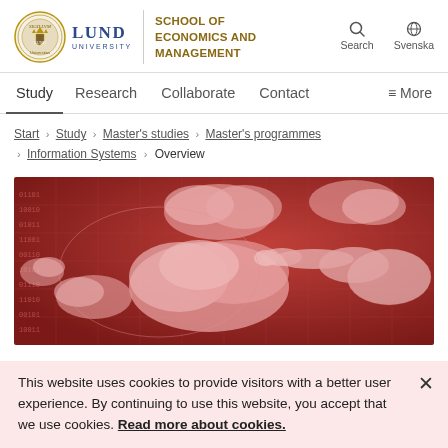[Figure (logo): Lund University School of Economics and Management logo with circular emblem, LUND UNIVERSITY text, and SCHOOL OF ECONOMICS AND MANAGEMENT in gold]
Search  Svenska
Study  Research  Collaborate  Contact  ≡ More
Start › Study › Master's studies › Master's programmes › Information Systems › Overview
[Figure (illustration): Red/crimson abstract illustration with cloud shapes and a hand pointing, on a grid background with binary code elements]
This website uses cookies to provide visitors with a better user experience. By continuing to use this website, you accept that we use cookies. Read more about cookies.